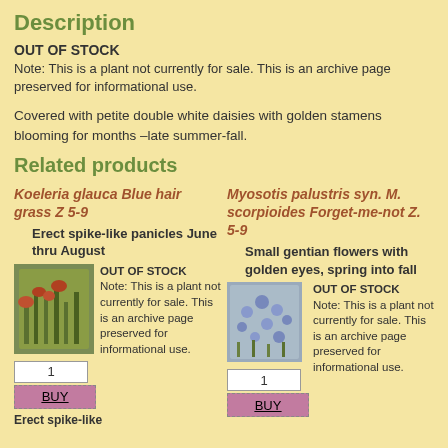Description
OUT OF STOCK
Note: This is a plant not currently for sale. This is an archive page preserved for informational use.
Covered with petite double white daisies with golden stamens blooming for months –late summer-fall.
Related products
Koeleria glauca Blue hair grass Z 5-9
Erect spike-like panicles June thru August
[Figure (photo): Photo of Koeleria glauca plant]
OUT OF STOCK
Note: This is a plant not currently for sale. This is an archive page preserved for informational use.
1
BUY
Erect spike-like
Myosotis palustris syn. M. scorpioides Forget-me-not Z. 5-9
Small gentian flowers with golden eyes, spring into fall
[Figure (photo): Photo of Myosotis palustris plant]
OUT OF STOCK
Note: This is a plant not currently for sale. This is an archive page preserved for informational use.
1
BUY